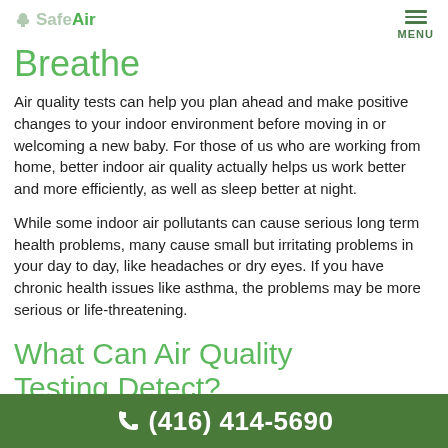SafeAir | MENU
Breathe
Air quality tests can help you plan ahead and make positive changes to your indoor environment before moving in or welcoming a new baby. For those of us who are working from home, better indoor air quality actually helps us work better and more efficiently, as well as sleep better at night.
While some indoor air pollutants can cause serious long term health problems, many cause small but irritating problems in your day to day, like headaches or dry eyes. If you have chronic health issues like asthma, the problems may be more serious or life-threatening.
What Can Air Quality Testing Detect?
(416) 414-5690